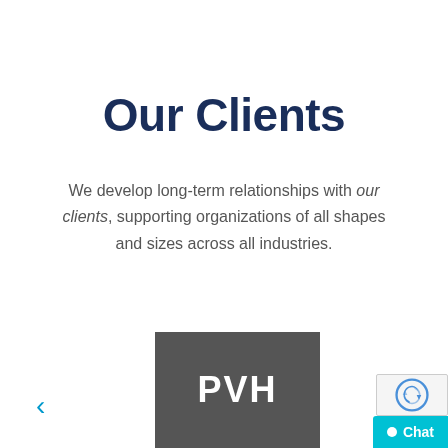Our Clients
We develop long-term relationships with our clients, supporting organizations of all shapes and sizes across all industries.
[Figure (logo): PVH logo — white text 'PVH' on dark grey/charcoal background rectangle]
< (left navigation arrow)
Chat